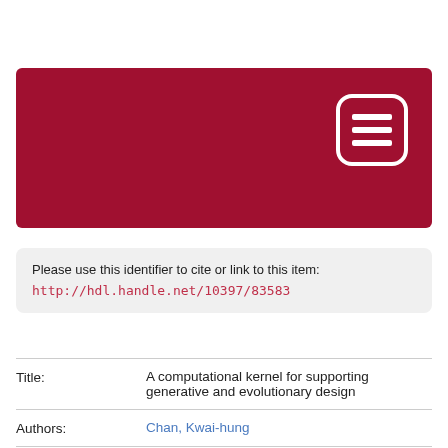[Figure (logo): Dark red/crimson banner header with a white rounded-rectangle icon containing three horizontal lines (hamburger/menu icon) in the top right area]
Please use this identifier to cite or link to this item:
http://hdl.handle.net/10397/83583
| Title: | A computational kernel for supporting generative and evolutionary design |
| Authors: | Chan, Kwai-hung |
| Degree: | Ph.D. |
| Issue Date: | 2008 |